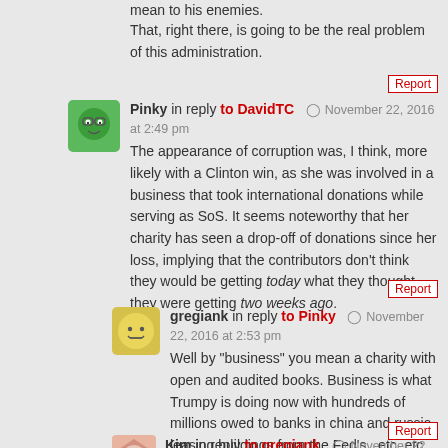mean to his enemies.
That, right there, is going to be the real problem of this administration.
Pinky in reply to DavidTC  November 22, 2016 at 2:49 pm
The appearance of corruption was, I think, more likely with a Clinton win, as she was involved in a business that took international donations while serving as SoS. It seems noteworthy that her charity has seen a drop-off of donations since her loss, implying that the contributors don't think they would be getting today what they thought they were getting two weeks ago.
gregiank in reply to Pinky  November 22, 2016 at 2:53 pm
Well by "business" you mean a charity with open and audited books. Business is what Trumpy is doing now with hundreds of millions owed to banks in china and russia, leasing buildings from the Fed's , etc, etc.
Kim in reply to gregiank  November 22, 2016 at 3:04 pm
greg,